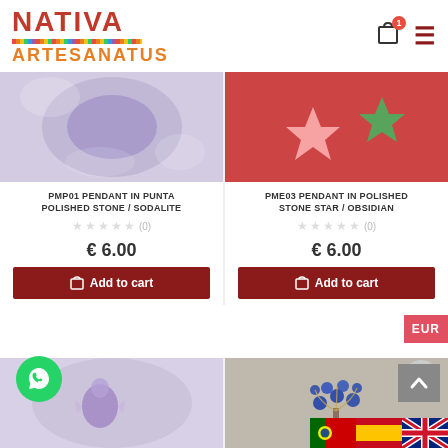[Figure (logo): Nativa Artesanatus logo with colorful dot pattern]
[Figure (photo): Product photo of PMP01 Pendant in Punta Polished Stone / Sodalite - purple/white stone]
PMP01 PENDANT IN PUNTA POLISHED STONE / SODALITE
★★★★★ (0)
€ 6.00
Add to cart
[Figure (photo): Product photo of PME03 Pendant in Polished Stone Star / Obsidian - pink star and green star on red background]
PME03 PENDANT IN POLISHED STONE STAR / OBSIDIAN
★★★★★ (0)
€ 6.00
Add to cart
[Figure (photo): Product photo of amethyst angel pendant on white fluffy background]
[Figure (photo): Product photo of lapis lazuli tree/stones on stone background]